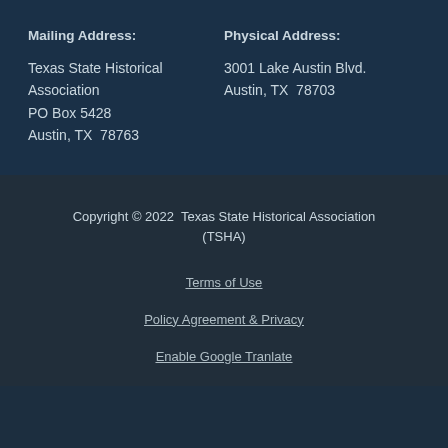Mailing Address:
Texas State Historical Association
PO Box 5428
Austin, TX  78763
Physical Address:
3001 Lake Austin Blvd.
Austin, TX  78703
Copyright © 2022  Texas State Historical Association (TSHA)
Terms of Use
Policy Agreement & Privacy
Enable Google Tranlate